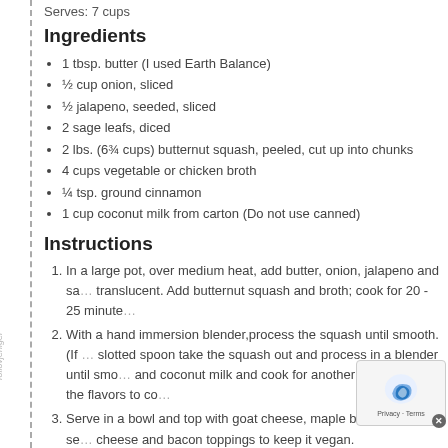Serves: 7 cups
Ingredients
1 tbsp. butter (I used Earth Balance)
½ cup onion, sliced
½ jalapeno, seeded, sliced
2 sage leafs, diced
2 lbs. (6¾ cups) butternut squash, peeled, cut up into chunks
4 cups vegetable or chicken broth
¼ tsp. ground cinnamon
1 cup coconut milk from carton (Do not use canned)
Instructions
In a large pot, over medium heat, add butter, onion, jalapeno and sa... translucent. Add butternut squash and broth; cook for 20 - 25 minute...
With a hand immersion blender,process the squash until smooth. (If ... slotted spoon take the squash out and process in a blender until smo... and coconut milk and cook for another 5 minutes for the flavors to co...
Serve in a bowl and top with goat cheese, maple bacon, pumpkin se... cheese and bacon toppings to keep it vegan.
Notes
Calories per cup: 89.7, Fat: 2, Sodium: 342, Carbs: 16, Fiber...
Nutrition Information